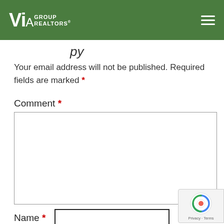VIA Group Realtors - navigation header
...py (partial, italic)
Your email address will not be published. Required fields are marked *
Comment *
Name *